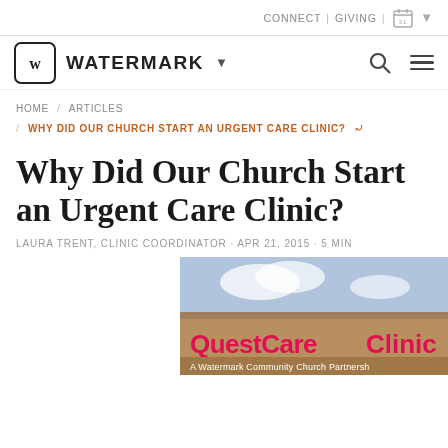CONNECT | GIVING |
WATERMARK
HOME / ARTICLES / WHY DID OUR CHURCH START AN URGENT CARE CLINIC?
Why Did Our Church Start an Urgent Care Clinic?
LAURA TRENT, CLINIC COORDINATOR · APR 21, 2015 · 5 MIN
[Figure (photo): Exterior sign of QuestCare Clinic - A Watermark Community Church Partnership]